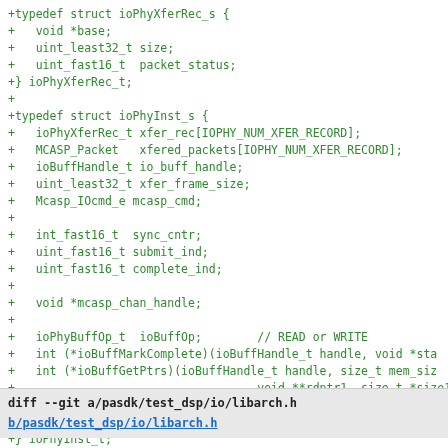+typedef struct ioPhyXferRec_s {
+  void *base;
+  uint_least32_t size;
+  uint_fast16_t  packet_status;
+} ioPhyXferRec_t;
+
+typedef struct ioPhyInst_s {
+  ioPhyXferRec_t xfer_rec[IOPHY_NUM_XFER_RECORD];
+  MCASP_Packet   xfered_packets[IOPHY_NUM_XFER_RECORD];
+  ioBuffHandle_t io_buff_handle;
+  uint_least32_t xfer_frame_size;
+  Mcasp_IOcmd_e mcasp_cmd;
+
+  int_fast16_t  sync_cntr;
+  uint_fast16_t submit_ind;
+  uint_fast16_t complete_ind;
+
+  void *mcasp_chan_handle;
+
+  ioPhyBuffOp_t  ioBuffOp;        // READ or WRITE
+  int (*ioBuffMarkComplete)(ioBuffHandle_t handle, void *sta
+  int (*ioBuffGetPtrs)(ioBuffHandle_t handle, size_t mem_siz
+                                  void **rdptr1, size_t *size1
+                                  void **rdptr2, size_t *size2
+
+} ioPhyInst_t;
+
+
+#endif
diff --git a/pasdk/test_dsp/io/libarch.h
b/pasdk/test_dsp/io/libarch.h